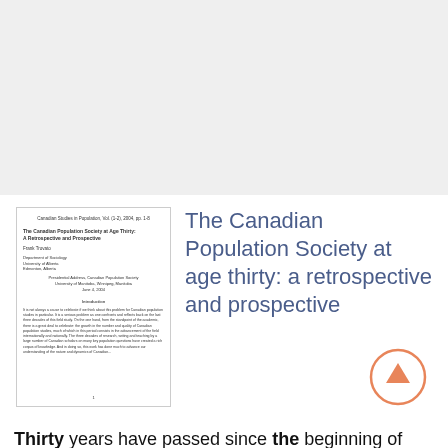[Figure (other): Gray background area at the top of the page]
[Figure (screenshot): Thumbnail image of a journal article page showing the title 'The Canadian Population Society at age thirty: a retrospective and prospective', author and affiliation details, conference information, and introduction text body.]
The Canadian Population Society at age thirty: a retrospective and prospective
Thirty years have passed since the beginning of the CPS in 1974. Much has changed since that time: the